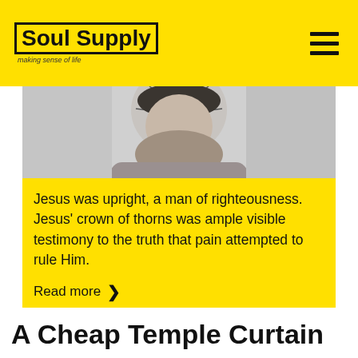Soul Supply — making sense of life
[Figure (photo): Black and white close-up photo of Jesus with crown of thorns, head bowed downward]
Jesus was upright, a man of righteousness. Jesus' crown of thorns was ample visible testimony to the truth that pain attempted to rule Him.
Read more ›
A Cheap Temple Curtain